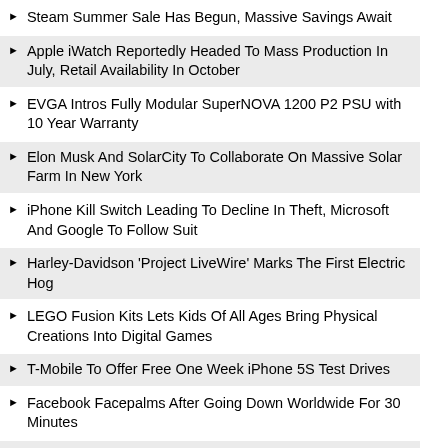Steam Summer Sale Has Begun, Massive Savings Await
Apple iWatch Reportedly Headed To Mass Production In July, Retail Availability In October
EVGA Intros Fully Modular SuperNOVA 1200 P2 PSU with 10 Year Warranty
Elon Musk And SolarCity To Collaborate On Massive Solar Farm In New York
iPhone Kill Switch Leading To Decline In Theft, Microsoft And Google To Follow Suit
Harley-Davidson 'Project LiveWire' Marks The First Electric Hog
LEGO Fusion Kits Lets Kids Of All Ages Bring Physical Creations Into Digital Games
T-Mobile To Offer Free One Week iPhone 5S Test Drives
Facebook Facepalms After Going Down Worldwide For 30 Minutes
Watch Dogs Patch For All Platforms Expected Next Week To Cure Many Ills
Hardware Boost: Intel To Offer Custom Xeons With Embedded FPGAs For The Data Center And Enterprise
Amazon's Innovative Fire Smartphone With Dynamic Perspective and Mayday Could Disrupt The Market
Ubisoft Says Far Cry 4 On Xbox One And PS4 Will Rival Ultra High Quality On PCs, You Bet Right